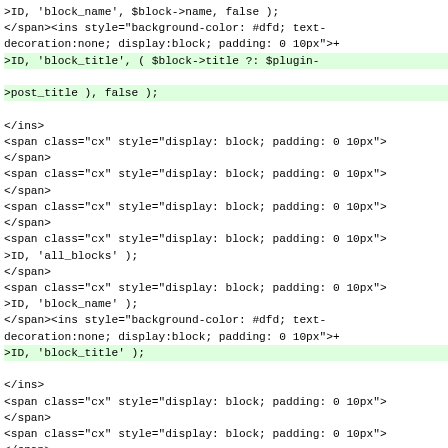>ID, 'block_name', $block->name, false );
</span><ins style="background-color: #dfd; text-decoration:none; display:block; padding: 0 10px">+
>ID, 'block_title', ( $block->title ?: $plugin-
>post_title ), false );
</ins>
<span class="cx" style="display: block; padding: 0 10px">
</span>
<span class="cx" style="display: block; padding: 0 10px">
</span>
<span class="cx" style="display: block; padding: 0 10px">
</span>
<span class="cx" style="display: block; padding: 0 10px">
>ID, 'all_blocks' );
</span>
<span class="cx" style="display: block; padding: 0 10px">
>ID, 'block_name' );
</span><ins style="background-color: #dfd; text-decoration:none; display:block; padding: 0 10px">+
>ID, 'block_title' );
</ins>
<span class="cx" style="display: block; padding: 0 10px">
</span>
<span class="cx" style="display: block; padding: 0 10px">
</span>
<span class="cx" style="display: block; padding: 0 10px">
</span>
<span class="lines" style="display: block; padding: 0 10p
</span>
<span class="cx" style="display: block; padding: 0 10px">